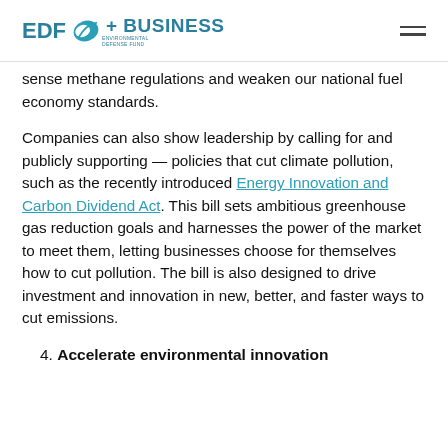EDF + BUSINESS
sense methane regulations and weaken our national fuel economy standards.
Companies can also show leadership by calling for and publicly supporting — policies that cut climate pollution, such as the recently introduced Energy Innovation and Carbon Dividend Act. This bill sets ambitious greenhouse gas reduction goals and harnesses the power of the market to meet them, letting businesses choose for themselves how to cut pollution. The bill is also designed to drive investment and innovation in new, better, and faster ways to cut emissions.
4. Accelerate environmental innovation